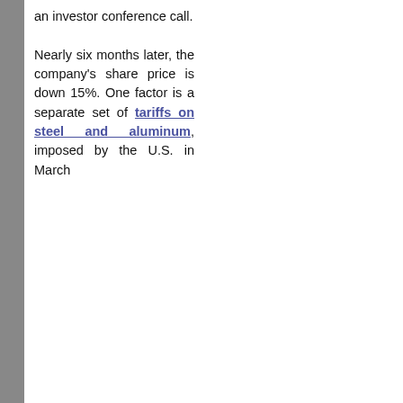an investor conference call. Nearly six months later, the company's share price is down 15%. One factor is a separate set of tariffs on steel and aluminum, imposed by the U.S. in March